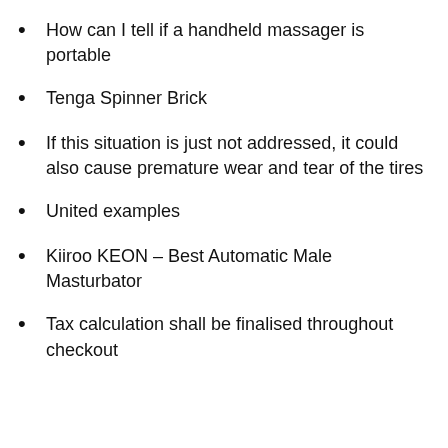How can I tell if a handheld massager is portable
Tenga Spinner Brick
If this situation is just not addressed, it could also cause premature wear and tear of the tires
United examples
Kiiroo KEON – Best Automatic Male Masturbator
Tax calculation shall be finalised throughout checkout